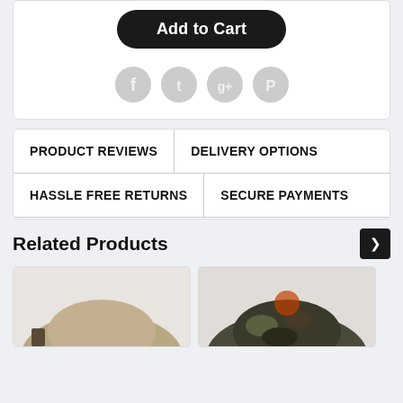Add to Cart
[Figure (other): Social sharing icons: Facebook, Twitter, Google+, Pinterest (light gray circular buttons)]
PRODUCT REVIEWS
DELIVERY OPTIONS
HASSLE FREE RETURNS
SECURE PAYMENTS
Related Products
[Figure (photo): Product photo 1 - appears to be a camouflage or outdoor hat, tan/olive color]
[Figure (photo): Product photo 2 - appears to be a camouflage hat, dark camo pattern]